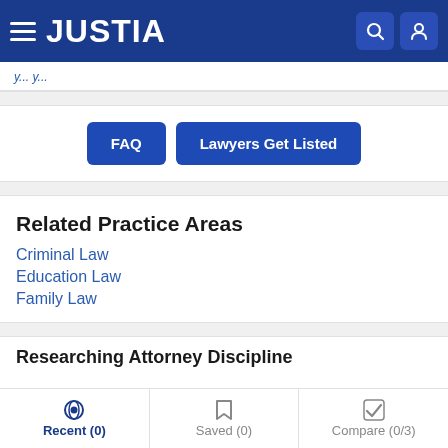JUSTIA
FAQ   Lawyers Get Listed
Related Practice Areas
Criminal Law
Education Law
Family Law
Researching Attorney Discipline
Recent (0)   Saved (0)   Compare (0/3)